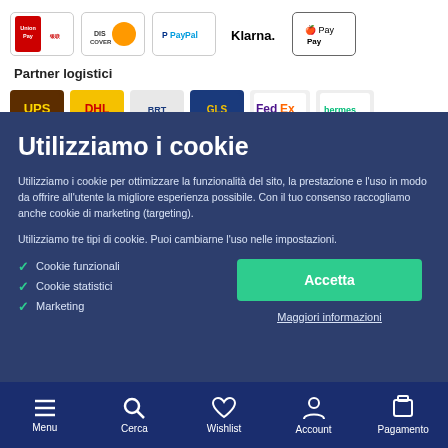[Figure (logo): Payment method logos: UnionPay, Discover, PayPal, Klarna, Apple Pay]
Partner logistici
[Figure (logo): Logistics partner logos: UPS and others partially visible]
Utilizziamo i cookie
Utilizziamo i cookie per ottimizzare la funzionalità del sito, la prestazione e l'uso in modo da offrire all'utente la migliore esperienza possibile. Con il tuo consenso raccogliamo anche cookie di marketing (targeting).
Utilizziamo tre tipi di cookie. Puoi cambiarne l'uso nelle impostazioni.
Cookie funzionali
Cookie statistici
Marketing
Accetta
Maggiori informazioni
Menu  Cerca  Wishlist  Account  Pagamento